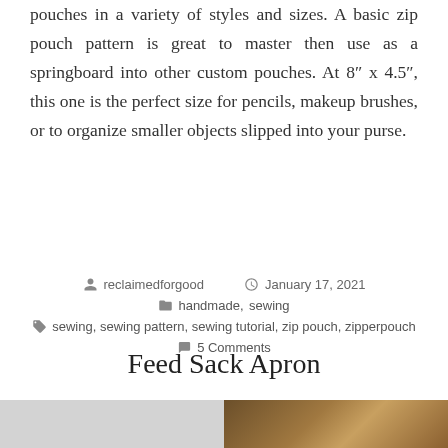pouches in a variety of styles and sizes. A basic zip pouch pattern is great to master then use as a springboard into other custom pouches. At 8″ x 4.5″, this one is the perfect size for pencils, makeup brushes, or to organize smaller objects slipped into your purse.
reclaimedforgood   January 17, 2021   handmade, sewing   sewing, sewing pattern, sewing tutorial, zip pouch, zipperpouch   5 Comments
Feed Sack Apron
[Figure (photo): Photo of a feed sack apron hanging on a wooden surface, showing white/natural fabric with straps]